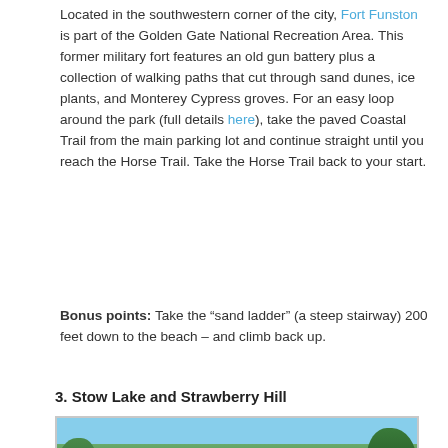Located in the southwestern corner of the city, Fort Funston is part of the Golden Gate National Recreation Area. This former military fort features an old gun battery plus a collection of walking paths that cut through sand dunes, ice plants, and Monterey Cypress groves. For an easy loop around the park (full details here), take the paved Coastal Trail from the main parking lot and continue straight until you reach the Horse Trail. Take the Horse Trail back to your start.
Bonus points: Take the “sand ladder” (a steep stairway) 200 feet down to the beach – and climb back up.
3. Stow Lake and Strawberry Hill
[Figure (photo): Photograph of Stow Lake and Strawberry Hill showing a lake surrounded by trees and lush vegetation, with a small boat on the water and hills visible in the background.]